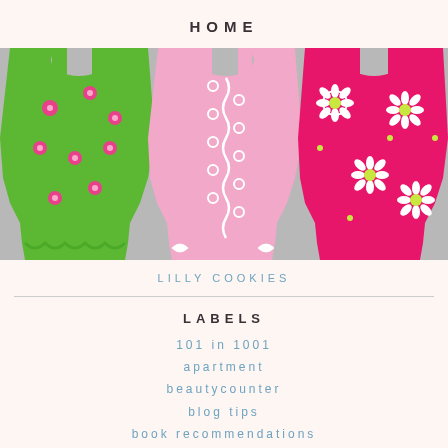HOME
[Figure (photo): Three decorated cookies shaped like Lilly Pulitzer shift dresses. Left cookie is bright green with pink flowers, center cookie is light pink with white swirl trim, right cookie is hot pink with white daisy flowers.]
LILLY COOKIES
LABELS
101 in 1001
apartment
beautycounter
blog tips
book recommendations